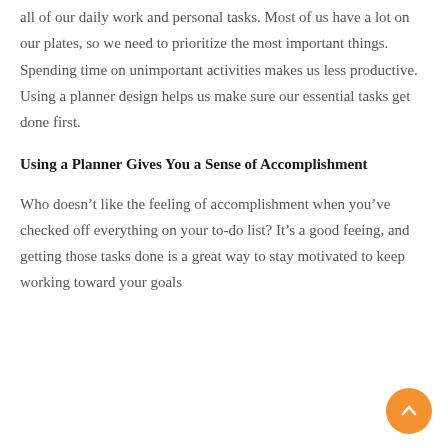all of our daily work and personal tasks. Most of us have a lot on our plates, so we need to prioritize the most important things. Spending time on unimportant activities makes us less productive. Using a planner design helps us make sure our essential tasks get done first.
Using a Planner Gives You a Sense of Accomplishment
Who doesn’t like the feeling of accomplishment when you’ve checked off everything on your to-do list? It’s a good feeing, and getting those tasks done is a great way to stay motivated to keep working toward your goals